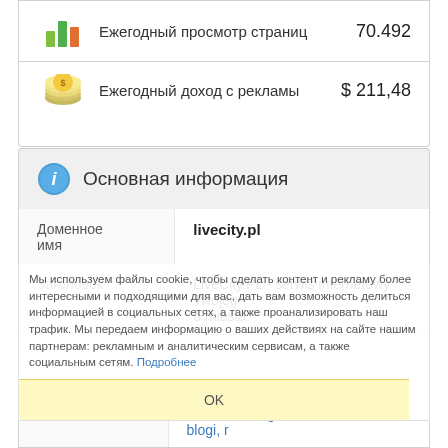|  | Метрика | Значение |
| --- | --- | --- |
| [chart-icon] | Ежегодный просмотр страниц | 70.492 |
| [money-icon] | Ежегодный доход с рекламы | $ 211,48 |
Основная информация
| Поле | Значение |
| --- | --- |
| Доменное имя | livecity.pl |
| Заголовок | LiveCity.PL - serwis internetowy Twojego miasta |
| Ключевые | Warszawa, ogłoszenia drobne, blogi, r... |
Мы используем файлы cookie, чтобы сделать контент и рекламу более интересными и подходящими для вас, дать вам возможность делиться информацией в социальных сетях, а также проанализировать наш трафик. Мы передаем информацию о ваших действиях на сайте нашим партнерам: рекламным и аналитическим сервисам, а также социальным сетям. Подробнее
OK